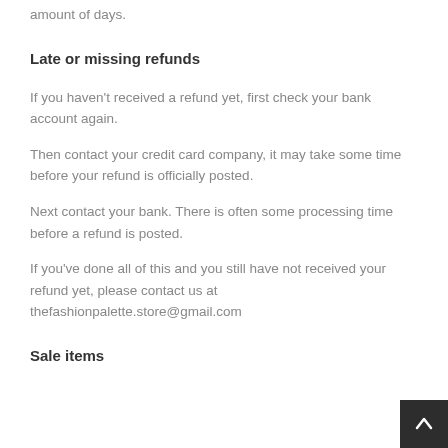amount of days.
Late or missing refunds
If you haven't received a refund yet, first check your bank account again.
Then contact your credit card company, it may take some time before your refund is officially posted.
Next contact your bank. There is often some processing time before a refund is posted.
If you've done all of this and you still have not received your refund yet, please contact us at thefashionpalette.store@gmail.com
Sale items